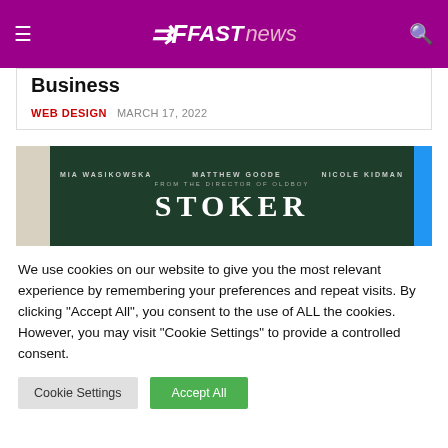FAST news
Business
WEB DESIGN   MARCH 17, 2022
[Figure (photo): Movie poster for Stoker featuring Mia Wasikowska, Matthew Goode, Nicole Kidman. From the director of Oldboy.]
We use cookies on our website to give you the most relevant experience by remembering your preferences and repeat visits. By clicking "Accept All", you consent to the use of ALL the cookies. However, you may visit "Cookie Settings" to provide a controlled consent.